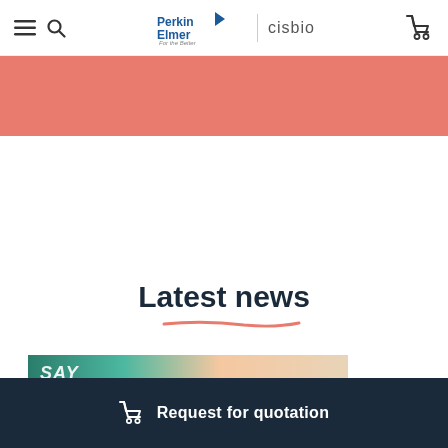PerkinElmer | cisbio
[Figure (illustration): Salmon/coral colored banner strip below the header navigation]
Latest news
[Figure (photo): Partial view of a scientific assay image strip, showing teal/green and orange/beige imagery with text 'SAY' visible]
Request for quotation